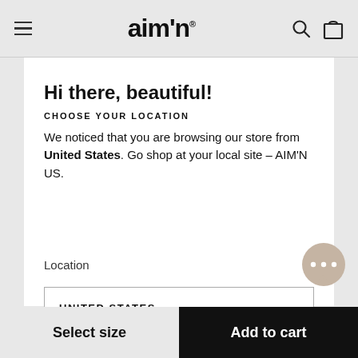aim'n® [logo] [search icon] [bag icon]
Hi there, beautiful!
CHOOSE YOUR LOCATION
We noticed that you are browsing our store from United States. Go shop at your local site – AIM'N US.
Location
UNITED STATES
Select size   Add to cart